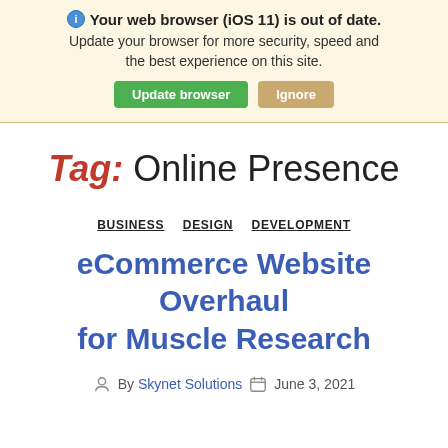Your web browser (iOS 11) is out of date. Update your browser for more security, speed and the best experience on this site. Update browser | Ignore
Tag: Online Presence
BUSINESS  DESIGN  DEVELOPMENT
eCommerce Website Overhaul for Muscle Research
By Skynet Solutions  June 3, 2021